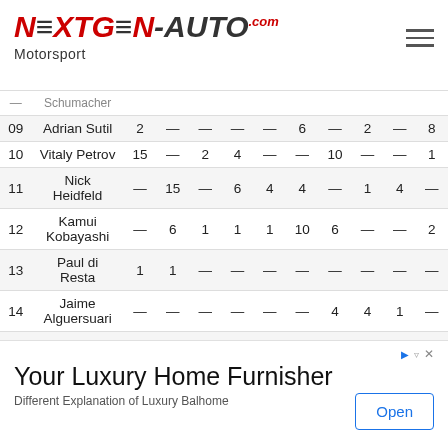NEXTGEN-AUTO.com Motorsport
| # | Name | c1 | c2 | c3 | c4 | c5 | c6 | c7 | c8 | c9 | c10 |
| --- | --- | --- | --- | --- | --- | --- | --- | --- | --- | --- | --- |
| 09 | Adrian Sutil | 2 | — | — | — | — | 6 | — | 2 | — | 8 |
| 10 | Vitaly Petrov | 15 | — | 2 | 4 | — | — | 10 | — | — | 1 |
| 11 | Nick Heidfeld | — | 15 | — | 6 | 4 | 4 | — | 1 | 4 | — |
| 12 | Kamui Kobayashi | — | 6 | 1 | 1 | 1 | 10 | 6 | — | — | 2 |
| 13 | Paul di Resta | 1 | 1 | — | — | — | — | — | — | — | — |
| 14 | Jaime Alguersuari | — | — | — | — | — | — | 4 | 4 | 1 | — |
| 15 | Sébastien Buemi | 4 | — | — | 2 | — | 1 | 1 | — | — | — |
|  | Sergio | — | — | — | — | 2 | — | — | — | 6 | — |
[Figure (other): Advertisement: Your Luxury Home Furnisher - Different Explanation of Luxury Balhome, Open button]